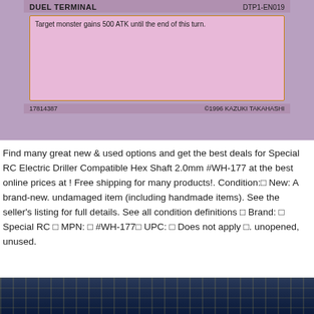[Figure (photo): Bottom portion of a Yu-Gi-Oh trading card (Duel Terminal, DTP1-EN019). Shows card text box with 'Target monster gains 500 ATK until the end of this turn.' Card number 17814387, copyright 1996 Kazuki Takahashi. Pink/purple background.]
Find many great new & used options and get the best deals for Special RC Electric Driller Compatible Hex Shaft 2.0mm #WH-177 at the best online prices at ! Free shipping for many products!. Condition:□ New: A brand-new. undamaged item (including handmade items). See the seller's listing for full details. See all condition definitions □ Brand: □ Special RC □ MPN: □ #WH-177□ UPC: □ Does not apply □. unopened, unused.
[Figure (photo): Dark cityscape background with building lights, bottom strip of the page.]